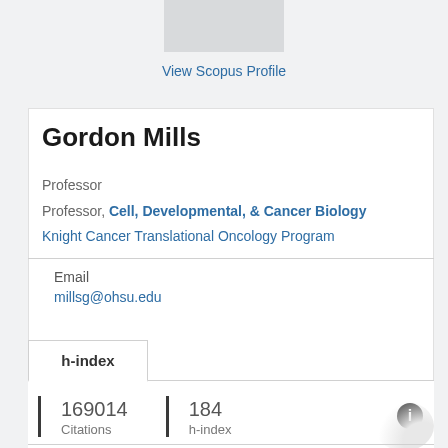[Figure (photo): Profile photo placeholder (gray rectangle) at top center]
View Scopus Profile
Gordon Mills
Professor
Professor, Cell, Developmental, & Cancer Biology
Knight Cancer Translational Oncology Program
Email
millsg@ohsu.edu
h-index
169014
Citations
184
h-index